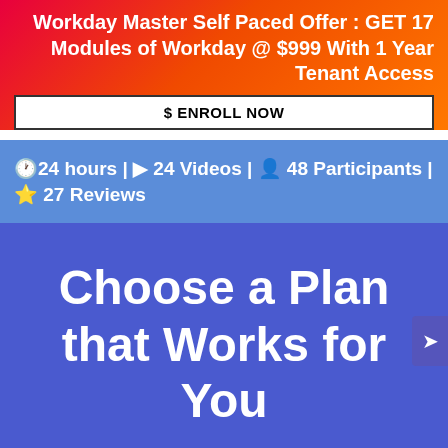Workday Master Self Paced Offer : GET 17 Modules of Workday @ $999 With 1 Year Tenant Access
$ ENROLL NOW
🕐24 hours | ▶ 24 Videos | 👤 48 Participants | ⭐ 27 Reviews
Choose a Plan that Works for You
Whatsapp  7 5239   +1-323-678-5557
+44-1224-015200   sales@cloudfoundation.com